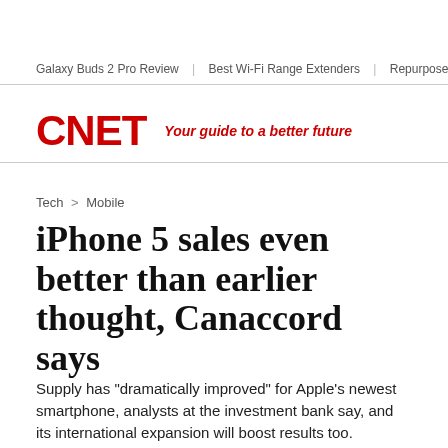Galaxy Buds 2 Pro Review | Best Wi-Fi Range Extenders | Repurpose
[Figure (logo): CNET logo in red with tagline 'Your guide to a better future']
Tech > Mobile
iPhone 5 sales even better than earlier thought, Canaccord says
Supply has "dramatically improved" for Apple's newest smartphone, analysts at the investment bank say, and its international expansion will boost results too.